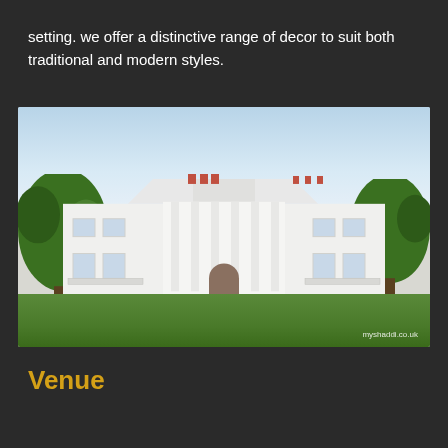setting. we offer a distinctive range of decor to suit both traditional and modern styles.
[Figure (photo): Exterior photo of a large white neoclassical mansion/venue building with columns and portico, surrounded by green trees and a manicured lawn, with watermark 'myshaddi.co.uk' in bottom right corner]
Venue